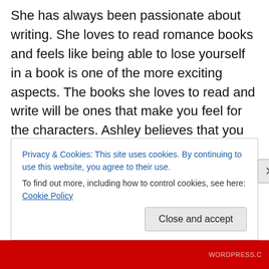She has always been passionate about writing. She loves to read romance books and feels like being able to lose yourself in a book is one of the more exciting aspects. The books she loves to read and write will be ones that make you feel for the characters. Ashley believes that you should have an opinion on every character in a book whether you love them, hate them, or think they are up to something.She also believes that the most important critic is your reader, so she loves to hear from the readers. She want her fans to be open & talk to her about what they want for the characters in the story, and what they would
Privacy & Cookies: This site uses cookies. By continuing to use this website, you agree to their use.
To find out more, including how to control cookies, see here: Cookie Policy